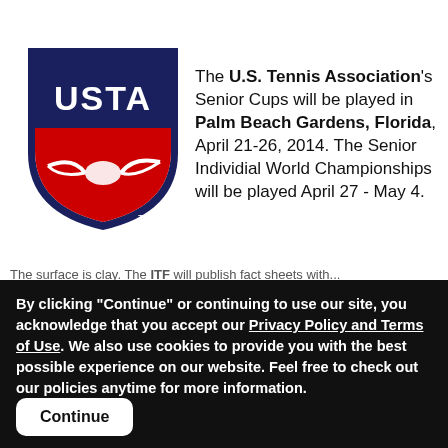[Figure (logo): USTA (U.S. Tennis Association) shield logo with navy blue border, red lower section, white tennis ball with wings, and USTA text in white. TM mark at bottom.]
The U.S. Tennis Association's Senior Cups will be played in Palm Beach Gardens, Florida, April 21-26, 2014.  The Senior Individial World Championships will be played April 27 - May 4.
The surface is clay. The ITF will publish fact sheets with...
By clicking "Continue" or continuing to use our site, you acknowledge that you accept our Privacy Policy and Terms of Use. We also use cookies to provide you with the best possible experience on our website. Feel free to check out our policies anytime for more information.
Continue